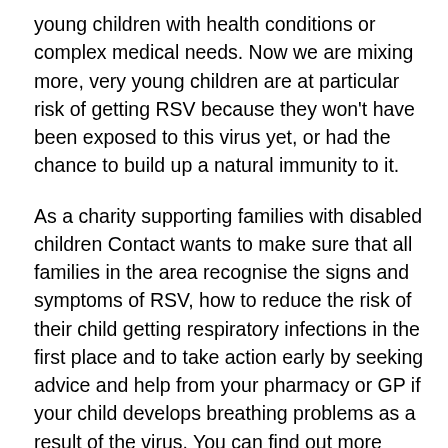young children with health conditions or complex medical needs. Now we are mixing more, very young children are at particular risk of getting RSV because they won't have been exposed to this virus yet, or had the chance to build up a natural immunity to it.
As a charity supporting families with disabled children Contact wants to make sure that all families in the area recognise the signs and symptoms of RSV, how to reduce the risk of their child getting respiratory infections in the first place and to take action early by seeking advice and help from your pharmacy or GP if your child develops breathing problems as a result of the virus. You can find out more about RSV and other winter viruses on our website www.contact.org.uk or if you have a question you can call our helpline on 0808 808 3555. Being aware of RSV alongside getting the flu vaccination and the Covid-19 booster jab are some of the key ways to protect yours and the health of your